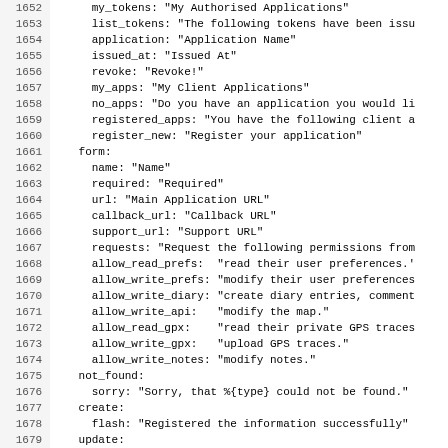Code listing lines 1652-1683 showing YAML/Ruby locale configuration for OAuth application tokens and client applications